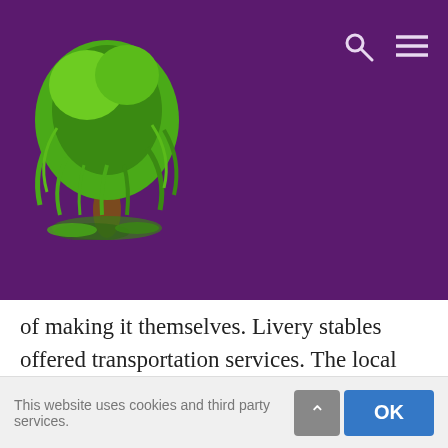[Figure (logo): Green weeping willow tree logo on purple background]
of making it themselves. Livery stables offered transportation services. The local sexton arranged for the grave diggers to open the grave.
The carpenter or cabinet maker or liveryman then began to “undertake” to care for the dead for
This website uses cookies and third party services.  OK